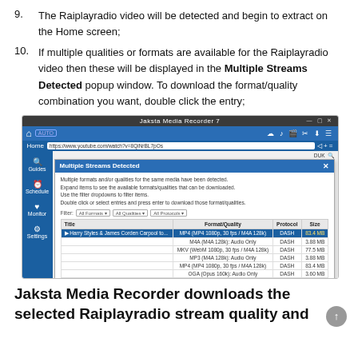9. The Raiplayradio video will be detected and begin to extract on the Home screen;
10. If multiple qualities or formats are available for the Raiplayradio video then these will be displayed in the Multiple Streams Detected popup window. To download the format/quality combination you want, double click the entry;
[Figure (screenshot): Screenshot of Jaksta Media Recorder 7 application showing the 'Multiple Streams Detected' popup window with a list of available formats/qualities for a Harry Styles & James Corden Carpool video, including MP4, M4A, MKV, MP3, and OGA formats with DASH protocol and various sizes.]
Jaksta Media Recorder downloads the selected Raiplayradio stream quality and